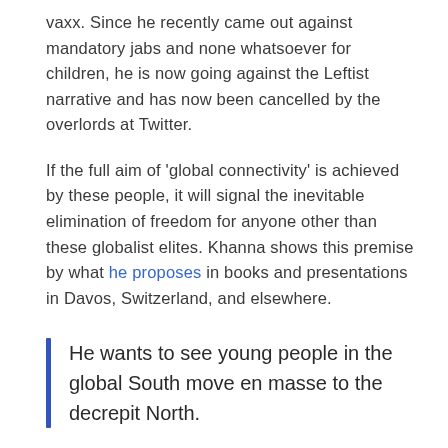vaxx. Since he recently came out against mandatory jabs and none whatsoever for children, he is now going against the Leftist narrative and has now been cancelled by the overlords at Twitter.
If the full aim of 'global connectivity' is achieved by these people, it will signal the inevitable elimination of freedom for anyone other than these globalist elites. Khanna shows this premise by what he proposes in books and presentations in Davos, Switzerland, and elsewhere.
He wants to see young people in the global South move en masse to the decrepit North.